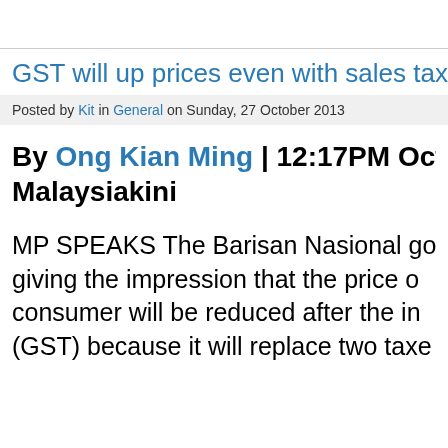GST will up prices even with sales tax g
Posted by Kit in General on Sunday, 27 October 2013
By Ong Kian Ming | 12:17PM Oct 27, 2 Malaysiakini
MP SPEAKS The Barisan Nasional gove giving the impression that the price o consumer will be reduced after the in (GST) because it will replace two taxe